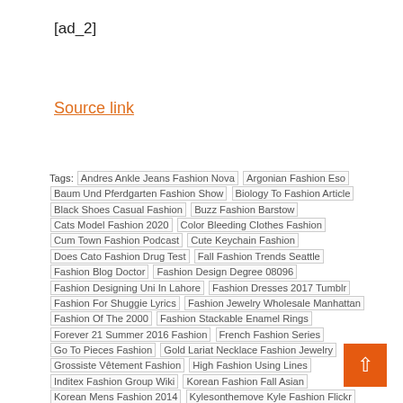[ad_2]
Source link
Tags: Andres Ankle Jeans Fashion Nova  Argonian Fashion Eso  Baum Und Pferdgarten Fashion Show  Biology To Fashion Article  Black Shoes Casual Fashion  Buzz Fashion Barstow  Cats Model Fashion 2020  Color Bleeding Clothes Fashion  Cum Town Fashion Podcast  Cute Keychain Fashion  Does Cato Fashion Drug Test  Fall Fashion Trends Seattle  Fashion Blog Doctor  Fashion Design Degree 08096  Fashion Designing Uni In Lahore  Fashion Dresses 2017 Tumblr  Fashion For Shuggie Lyrics  Fashion Jewelry Wholesale Manhattan  Fashion Of The 2000  Fashion Stackable Enamel Rings  Forever 21 Summer 2016 Fashion  French Fashion Series  Go To Pieces Fashion  Gold Lariat Necklace Fashion Jewelry  Grossiste Vêtement Fashion  High Fashion Using Lines  Inditex Fashion Group Wiki  Korean Fashion Fall Asian  Korean Mens Fashion 2014  Kylesonthemove Kyle Fashion Flickr  Lady Fashion Flohmarkt Erfahrungen  Lea Chen Wharton Fashion  Mejores Street Fashion Models Names  Men'S Coachella Fashion Pastel  Men'S Corporate Fashion Summer  Mens Fashion Wrist Bands  Mens Rubber Boots Fashion  Oscars Fashion Gallery  Persian Man Fashion  Pittsburgh Fashion Trucks  Platform Wedges Korean Fashion  Plus Size Fashion *Mall  Reddit Historical Fashion  Sexy Crossdresser Fashion  Techies Fashion Guys  The Fashion Project Iowa  Top Fashion Brands On Ebay  Where Are Fashion Runways Held  Wsj March 2019 Women'S Fashion  Www.Venus Swim And Fashion